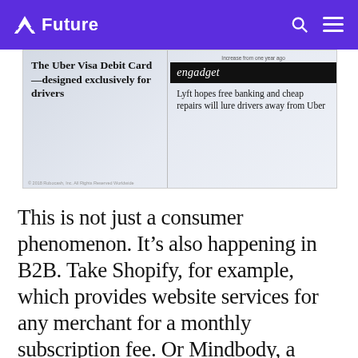Future
[Figure (screenshot): Screenshot of two article thumbnails side by side: left shows 'The Uber Visa Debit Card—designed exclusively for drivers', right shows an Engadget article 'Lyft hopes free banking and cheap repairs will lure drivers away from Uber' with a header reading 'Increase from one year ago']
This is not just a consumer phenomenon. It's also happening in B2B. Take Shopify, for example, which provides website services for any merchant for a monthly subscription fee. Or Mindbody, a company that helps fitness studios like yoga studios manage their businesses, also for a monthly fee. Turns out